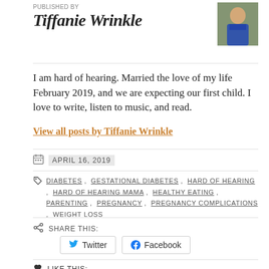PUBLISHED BY
Tiffanie Wrinkle
[Figure (photo): Author photo of Tiffanie Wrinkle, a woman in a blue sleeveless top outdoors]
I am hard of hearing. Married the love of my life February 2019, and we are expecting our first child. I love to write, listen to music, and read.
View all posts by Tiffanie Wrinkle
APRIL 16, 2019
DIABETES , GESTATIONAL DIABETES , HARD OF HEARING , HARD OF HEARING MAMA , HEALTHY EATING , PARENTING , PREGNANCY , PREGNANCY COMPLICATIONS , WEIGHT LOSS
SHARE THIS:
Twitter
Facebook
LIKE THIS:
LOADING...